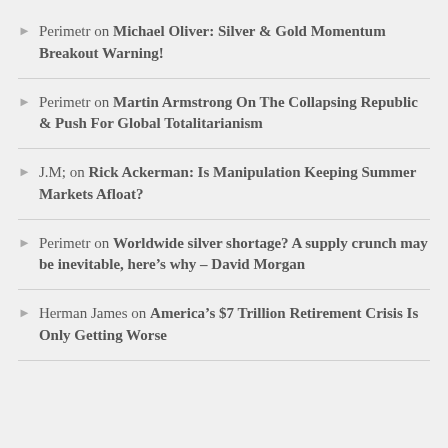Perimetr on Michael Oliver: Silver & Gold Momentum Breakout Warning!
Perimetr on Martin Armstrong On The Collapsing Republic & Push For Global Totalitarianism
J.M; on Rick Ackerman: Is Manipulation Keeping Summer Markets Afloat?
Perimetr on Worldwide silver shortage? A supply crunch may be inevitable, here's why – David Morgan
Herman James on America's $7 Trillion Retirement Crisis Is Only Getting Worse